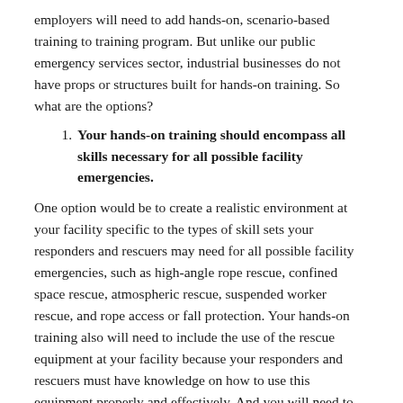employers will need to add hands-on, scenario-based training to training program. But unlike our public emergency services sector, industrial businesses do not have props or structures built for hands-on training. So what are the options?
Your hands-on training should encompass all skills necessary for all possible facility emergencies.
One option would be to create a realistic environment at your facility specific to the types of skill sets your responders and rescuers may need for all possible facility emergencies, such as high-angle rope rescue, confined space rescue, atmospheric rescue, suspended worker rescue, and rope access or fall protection. Your hands-on training also will need to include the use of the rescue equipment at your facility because your responders and rescuers must have knowledge on how to use this equipment properly and effectively. And you will need to stay updated and knowledgeable on the latest equipment and techniques for emergency response so your team has the ability to safely respond and rescue.